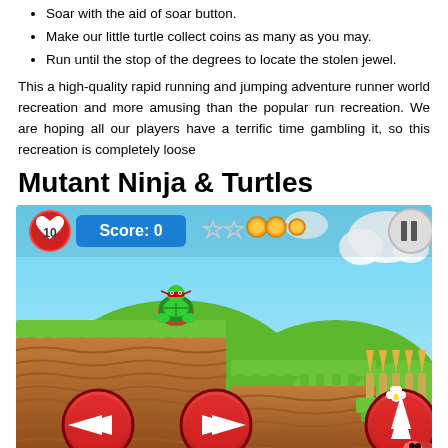Soar with the aid of soar button.
Make our little turtle collect coins as many as you may.
Run until the stop of the degrees to locate the stolen jewel.
This a high-quality rapid running and jumping adventure runner world recreation and more amusing than the popular run recreation. We are hoping all our players have a terrific time gambling it, so this recreation is completely loose
Mutant Ninja & Turtles
[Figure (screenshot): Mobile game screenshot of Mutant Ninja & Turtles showing a turtle character on green platforms with brown earth terrain, coins and stars at top, score display showing 'Score: 0', heart showing '10', control buttons at bottom, and colorful hills in background.]